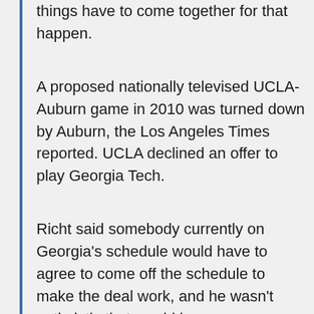things have to come together for that happen.
A proposed nationally televised UCLA-Auburn game in 2010 was turned down by Auburn, the Los Angeles Times reported. UCLA declined an offer to play Georgia Tech.
Richt said somebody currently on Georgia's schedule would have to agree to come off the schedule to make the deal work, and he wasn't optimistic that would happen.
Richt said Georgia would essentially lose a home game if it played in Atlanta.
"We think we have one team that everybody would be excited about, but if I say who it is it will probably blow the deal," Richt said without